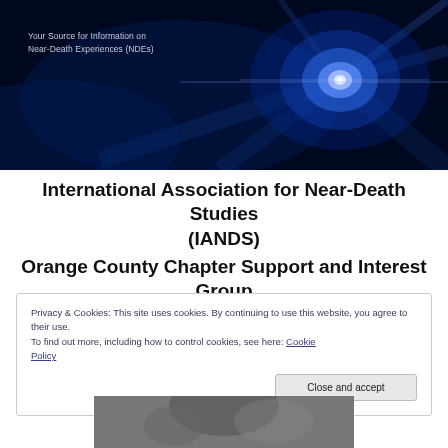[Figure (photo): Dark blue/black banner background with a bright white star-burst light flare on the right side and text overlay reading 'Your Source for Information on Near-Death Experiences (NDEs)']
International Association for Near-Death Studies (IANDS)
Orange County Chapter Support and Interest Group
Privacy & Cookies: This site uses cookies. By continuing to use this website, you agree to their use.
To find out more, including how to control cookies, see here: Cookie Policy
[Close and accept button]
[Figure (photo): Partial grayscale photo at bottom of page, partially visible]